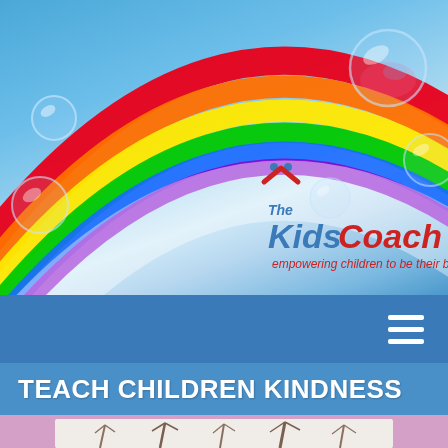[Figure (illustration): Website header banner with blue sky background, colorful rainbow arc from left to right, and several transparent soap bubbles. Center-right features the Kids Coach logo with text 'The KidsCoach' and tagline 'empowering children to be their best'.]
TEACH CHILDREN KINDNESS
[Figure (photo): Partial view of a winter scene with bare trees against a light background, shown at the bottom of the page on a pink/mauve background.]